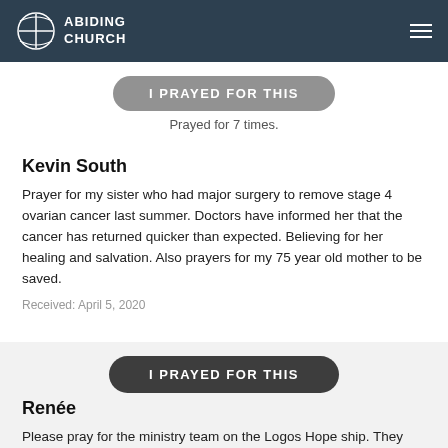ABIDING CHURCH
I PRAYED FOR THIS
Prayed for 7 times.
Kevin South
Prayer for my sister who had major surgery to remove stage 4 ovarian cancer last summer. Doctors have informed her that the cancer has returned quicker than expected. Believing for her healing and salvation. Also prayers for my 75 year old mother to be saved.
Received: April 5, 2020
I PRAYED FOR THIS
Prayed for 5 times.
Renée
Please pray for the ministry team on the Logos Hope ship. They are docked in Jamaica, unable to leave the ship. Currently have all supplies and are entering into new discipleship training. Prayer for faithfulness to God, good health and safety as they